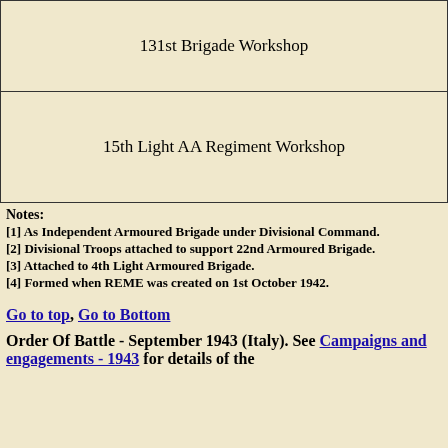| 131st Brigade Workshop |
| 15th Light AA Regiment Workshop |
Notes:
[1] As Independent Armoured Brigade under Divisional Command.
[2] Divisional Troops attached to support 22nd Armoured Brigade.
[3] Attached to 4th Light Armoured Brigade.
[4] Formed when REME was created on 1st October 1942.
Go to top, Go to Bottom
Order Of Battle - September 1943 (Italy). See Campaigns and engagements - 1943 for details of the